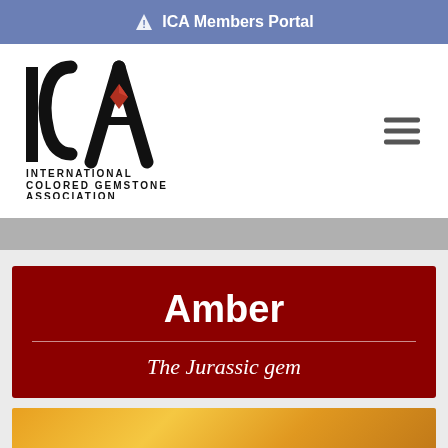⚠ ICA Members Portal
[Figure (logo): ICA International Colored Gemstone Association logo with large I, C, A letters and a red gemstone, with text INTERNATIONAL COLORED GEMSTONE ASSOCIATION below]
Amber
The Jurassic gem
[Figure (photo): Partial view of an amber gemstone photo with golden-orange gradient coloring]